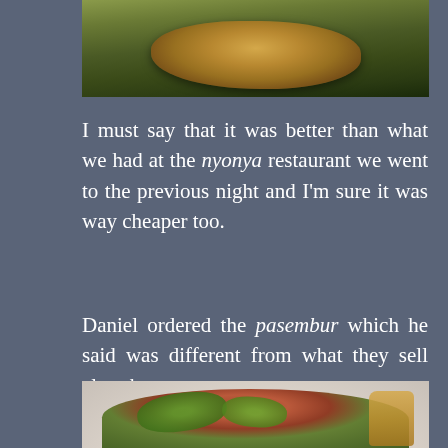[Figure (photo): Close-up photo of fried food items, partially visible at top of page]
I must say that it was better than what we had at the nyonya restaurant we went to the previous night and I'm sure it was way cheaper too.
Daniel ordered the pasembur which he said was different from what they sell elsewhere...
[Figure (photo): Photo of pasembur dish on a white plate with dark sauce, green herbs, and mixed ingredients]